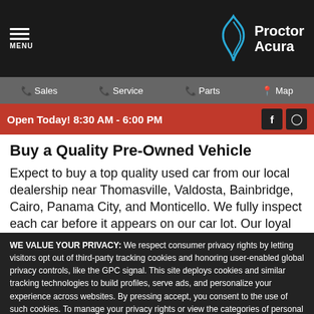MENU | Proctor Acura
Sales | Service | Parts | Map
Open Today! 8:30 AM - 6:00 PM
Buy a Quality Pre-Owned Vehicle
Expect to buy a top quality used car from our local dealership near Thomasville, Valdosta, Bainbridge, Cairo, Panama City, and Monticello. We fully inspect each car before it appears on our car lot. Our loyal
WE VALUE YOUR PRIVACY: We respect consumer privacy rights by letting visitors opt out of third-party tracking cookies and honoring user-enabled global privacy controls, like the GPC signal. This site deploys cookies and similar tracking technologies to build profiles, serve ads, and personalize your experience across websites. By pressing accept, you consent to the use of such cookies. To manage your privacy rights or view the categories of personal information we collect and the purposes for which the information is used, click here.
Language: English ▼ Powered by ComplyAuto
Accept and Continue → | Privacy Policy | ×